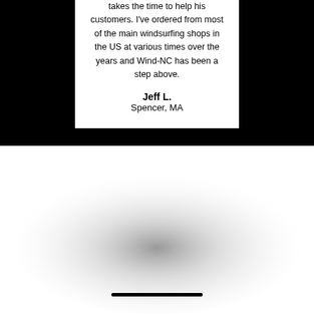takes the time to help his customers. I've ordered from most of the main windsurfing shops in the US at various times over the years and Wind-NC has been a step above.
Jeff L.
Spencer, MA
[Figure (illustration): Bottom half of page with white background featuring a large radial grey gradient blob in the center, and a thick black horizontal divider bar near the bottom center.]